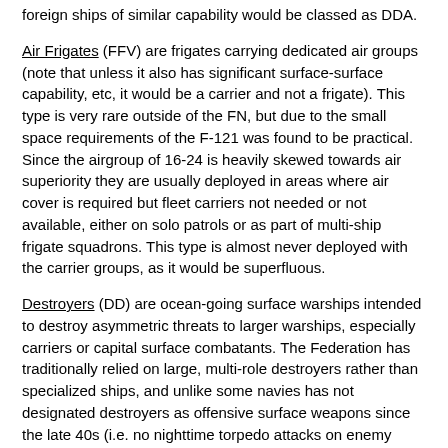foreign ships of similar capability would be classed as DDA.
Air Frigates (FFV) are frigates carrying dedicated air groups (note that unless it also has significant surface-surface capability, etc, it would be a carrier and not a frigate). This type is very rare outside of the FN, but due to the small space requirements of the F-121 was found to be practical. Since the airgroup of 16-24 is heavily skewed towards air superiority they are usually deployed in areas where air cover is required but fleet carriers not needed or not available, either on solo patrols or as part of multi-ship frigate squadrons. This type is almost never deployed with the carrier groups, as it would be superfluous.
Destroyers (DD) are ocean-going surface warships intended to destroy asymmetric threats to larger warships, especially carriers or capital surface combatants. The Federation has traditionally relied on large, multi-role destroyers rather than specialized ships, and unlike some navies has not designated destroyers as offensive surface weapons since the late 40s (i.e. no nighttime torpedo attacks on enemy formations in Federation doctrine; they still expect this type to carry significant surface-surface missile ability to defend their charges against surface attacks).
Destroyer subtypes include: DDG (missile), DDA (anti-missile and/or anti-air), and DDE (anti-submarine).
Attack Submarines (SS) are submarines intended to attack other submarines and/or surface ships, with a primary armament of torpedoes and possibly missiles.
Missile Submarines (SSG) are submarines intended to carry long-range